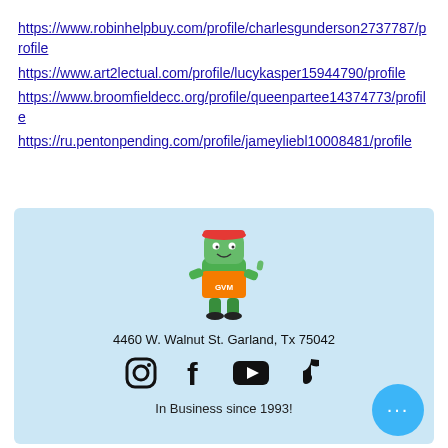https://www.robinhelpbuy.com/profile/charlesgunderson2737787/profile
https://www.art2lectual.com/profile/lucykasper15944790/profile
https://www.broomfieldecc.org/profile/queenpartee14374773/profile
https://ru.pentonpending.com/profile/jameyliebl10008481/profile
[Figure (logo): GVM mascot character: cartoon green figure wearing orange vest and red cap, giving thumbs up]
4460 W. Walnut St. Garland, Tx 75042
[Figure (infographic): Social media icons: Instagram, Facebook, YouTube, TikTok]
In Business since 1993!